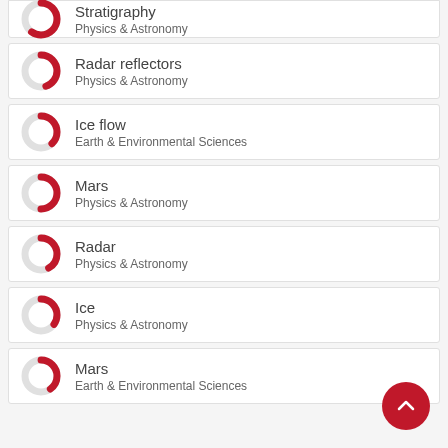Stratigraphy — Physics & Astronomy
Radar reflectors — Physics & Astronomy
Ice flow — Earth & Environmental Sciences
Mars — Physics & Astronomy
Radar — Physics & Astronomy
Ice — Physics & Astronomy
Mars — Earth & Environmental Sciences